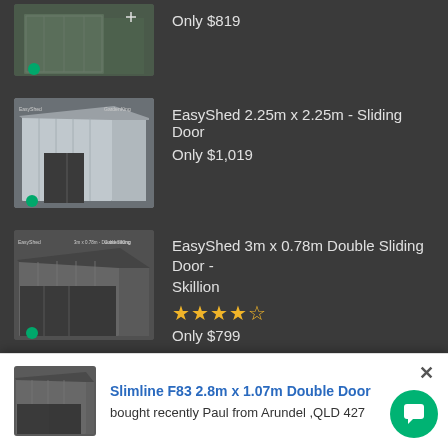[Figure (photo): Product image of a shed (partially visible, top of page), dark grey/green color]
Only $819
[Figure (photo): Product image of EasyShed 2.25m x 2.25m Sliding Door - silver/white metal shed]
EasyShed 2.25m x 2.25m - Sliding Door
Only $1,019
[Figure (photo): Product image of EasyShed 3m x 0.78m Double Sliding Door Skillion - dark grey shed]
EasyShed 3m x 0.78m Double Sliding Door - Skillion
★★★★★ (4.5 stars)
Only $799
[Figure (photo): Popup notification showing Slimline F83 2.8m x 1.07m Double Door shed image]
Slimline F83 2.8m x 1.07m Double Door
bought recently Paul from Arundel ,QLD 427